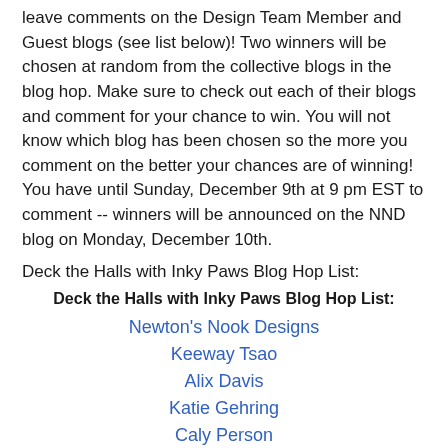leave comments on the Design Team Member and Guest blogs (see list below)! Two winners will be chosen at random from the collective blogs in the blog hop. Make sure to check out each of their blogs and comment for your chance to win. You will not know which blog has been chosen so the more you comment on the better your chances are of winning! You have until Sunday, December 9th at 9 pm EST to comment -- winners will be announced on the NND blog on Monday, December 10th.
Deck the Halls with Inky Paws Blog Hop List:
Deck the Halls with Inky Paws Blog Hop List:
Newton's Nook Designs
Keeway Tsao
Alix Davis
Katie Gehring
Caly Person
Amanda Bodine
Holly Endress
Ellen Haxelmans